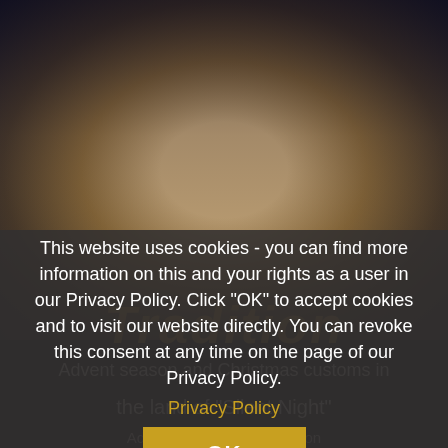[Figure (photo): A person dressed in a large white fur costume with a carved wooden mask and an ornate blue and white horned headdress, standing in a town square at night with Christmas lights visible in the background. Other people in colorful winter clothing are visible around them.]
Tradition
Advent season and Christmas customs in the land of "Silent Night"
This website uses cookies - you can find more information on this and your rights as a user in our Privacy Policy. Click "OK" to accept cookies and to visit our website directly. You can revoke this consent at any time on the page of our Privacy Policy.
Privacy Policy
OK